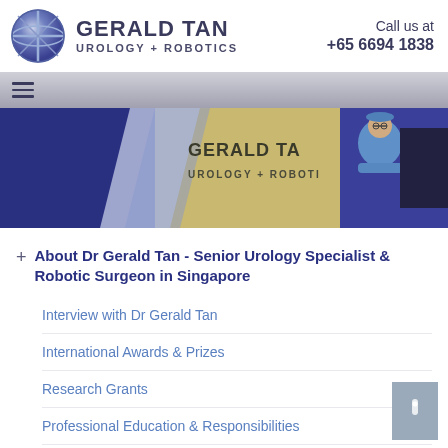[Figure (logo): Gerald Tan Urology + Robotics logo with globe icon]
Call us at +65 6694 1838
[Figure (photo): Hero banner showing Gerald Tan Urology + Robotics office signage with doctor in blue scrubs]
About Dr Gerald Tan - Senior Urology Specialist & Robotic Surgeon in Singapore
Interview with Dr Gerald Tan
International Awards & Prizes
Research Grants
Professional Education & Responsibilities
Textbook Chapters on Robotic Surgery